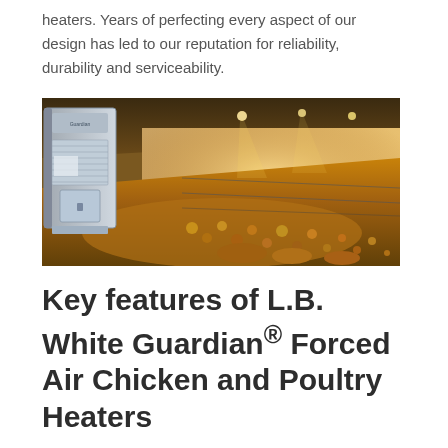heaters. Years of perfecting every aspect of our design has led to our reputation for reliability, durability and serviceability.
[Figure (photo): A forced air heater unit (L.B. White Guardian) mounted on the wall of a large poultry house filled with chickens, illuminated with warm overhead lighting and feeding lines visible in the background.]
Key features of L.B. White Guardian® Forced Air Chicken and Poultry Heaters